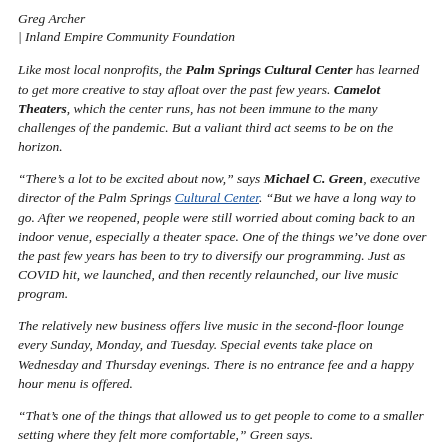Greg Archer | Inland Empire Community Foundation
Like most local nonprofits, the Palm Springs Cultural Center has learned to get more creative to stay afloat over the past few years. Camelot Theaters, which the center runs, has not been immune to the many challenges of the pandemic. But a valiant third act seems to be on the horizon.
“There’s a lot to be excited about now,” says Michael C. Green, executive director of the Palm Springs Cultural Center. “But we have a long way to go. After we reopened, people were still worried about coming back to an indoor venue, especially a theater space. One of the things we’ve done over the past few years has been to try to diversify our programming. Just as COVID hit, we launched, and then recently relaunched, our live music program.
The relatively new business offers live music in the second-floor lounge every Sunday, Monday, and Tuesday. Special events take place on Wednesday and Thursday evenings. There is no entrance fee and a happy hour menu is offered.
“That’s one of the things that allowed us to get people to come to a smaller setting where they felt more comfortable,” Green says.